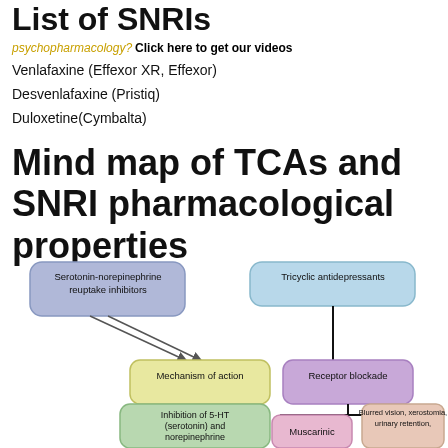List of SNRIs
psychopharmacology? Click here to get our videos
Venlafaxine (Effexor XR, Effexor)
Desvenlafaxine (Pristiq)
Duloxetine(Cymbalta)
Mind map of TCAs and SNRI pharmacological properties
[Figure (flowchart): Mind map diagram showing TCAs and SNRIs. Top level nodes: 'Serotonin-norepinephrine reuptake inhibitors' and 'Tricyclic antidepressants'. Both connect down to 'Mechanism of action' and 'Receptor blockade' respectively. 'Mechanism of action' connects to 'Inhibition of 5-HT (serotonin) and norepinephrine...'. 'Receptor blockade' connects to 'Muscarinic' and 'Blurred vision, xerostomia, urinary retention'.]